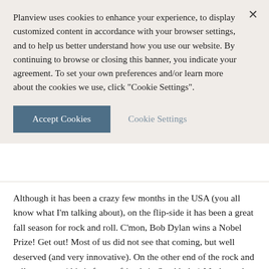Planview uses cookies to enhance your experience, to display customized content in accordance with your browser settings, and to help us better understand how you use our website. By continuing to browse or closing this banner, you indicate your agreement. To set your own preferences and/or learn more about the cookies we use, click "Cookie Settings".
Accept Cookies   Cookie Settings
Although it has been a crazy few months in the USA (you all know what I'm talking about), on the flip-side it has been a great fall season for rock and roll. C'mon, Bob Dylan wins a Nobel Prize! Get out! Most of us did not see that coming, but well deserved (and very innovative). On the other end of the rock and roll spectrum (this is for my friends in Stockholm) Meshuggah released what I hear is